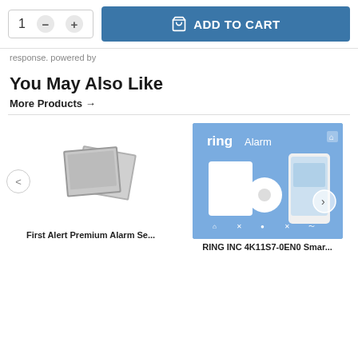[Figure (screenshot): Add to cart UI with quantity selector showing '1' with minus and plus buttons, and a blue 'ADD TO CART' button with a shopping bag icon]
response. powered by
You May Also Like
More Products →
[Figure (photo): Placeholder image icon for First Alert Premium Alarm Se...]
First Alert Premium Alarm Se...
[Figure (photo): Ring Alarm product box showing security devices and a smartphone with Ring app, with a forward navigation arrow overlay]
RING INC 4K11S7-0EN0 Smar...